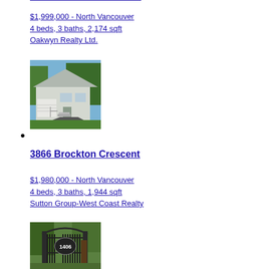$1,999,000 - North Vancouver
4 beds, 3 baths, 2,174 sqft
Oakwyn Realty Ltd.
[Figure (photo): Exterior photo of a grey/white single-story house with garage and driveway, surrounded by trees]
•
3866 Brockton Crescent
$1,980,000 - North Vancouver
4 beds, 3 baths, 1,944 sqft
Sutton Group-West Coast Realty
[Figure (photo): Photo of an ornate iron gate with house number 1406, with trees in background]